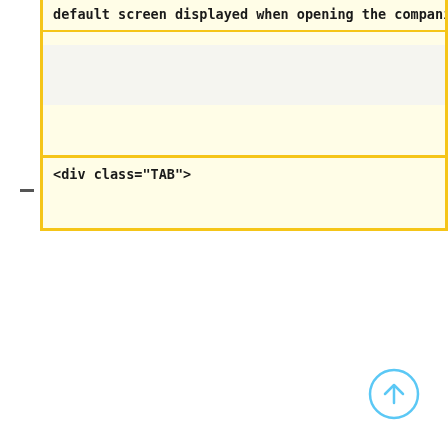default screen displayed when opening the compani
<div class="TAB">
[Figure (illustration): Up arrow navigation button circle icon in blue outline, bottom right corner]